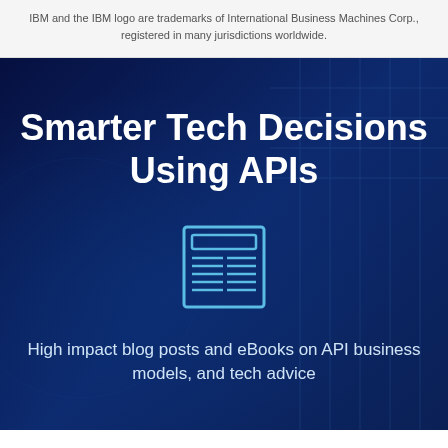IBM and the IBM logo are trademarks of International Business Machines Corp., registered in many jurisdictions worldwide.
Smarter Tech Decisions Using APIs
[Figure (illustration): A light blue outlined icon of a document or newspaper with a header bar and text lines arranged in two columns below]
High impact blog posts and eBooks on API business models, and tech advice